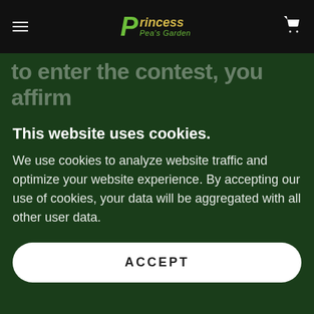Princess Pea's Garden — navigation header
to enter the contest, you affirm your beliefs out loud or in your head. If you believe you can win
This website uses cookies.
We use cookies to analyze website traffic and optimize your website experience. By accepting our use of cookies, your data will be aggregated with all other user data.
ACCEPT